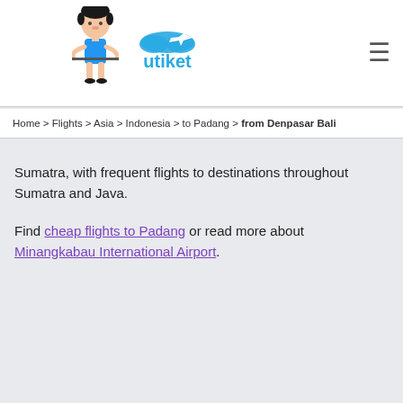[Figure (logo): Utiket website logo with mascot character and blue utiket text with airplane icon]
Home > Flights > Asia > Indonesia > to Padang > from Denpasar Bali
Sumatra, with frequent flights to destinations throughout Sumatra and Java.
Find cheap flights to Padang or read more about Minangkabau International Airport.